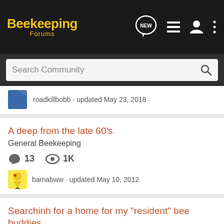Beekeeping Forums
Search Community
roadkillbobb · updated May 23, 2018
A deep from the late 60's
General Beekeeping
13  1K
bamabww · updated May 10, 2012
Searchinh for a home for my "resident" bee buddies
Introductions
7  76
The nation's top land brokers run on GroundOS. REQUEST A DEMO